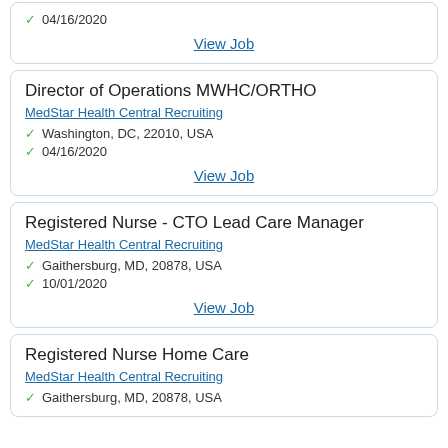04/16/2020
View Job
Director of Operations MWHC/ORTHO
MedStar Health Central Recruiting
Washington, DC, 22010, USA
04/16/2020
View Job
Registered Nurse - CTO Lead Care Manager
MedStar Health Central Recruiting
Gaithersburg, MD, 20878, USA
10/01/2020
View Job
Registered Nurse Home Care
MedStar Health Central Recruiting
Gaithersburg, MD, 20878, USA